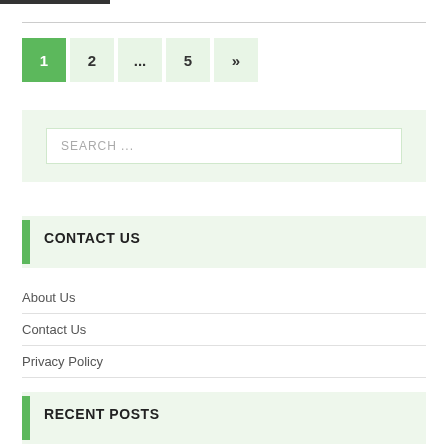1  2  ...  5  »
SEARCH ...
CONTACT US
About Us
Contact Us
Privacy Policy
RECENT POSTS